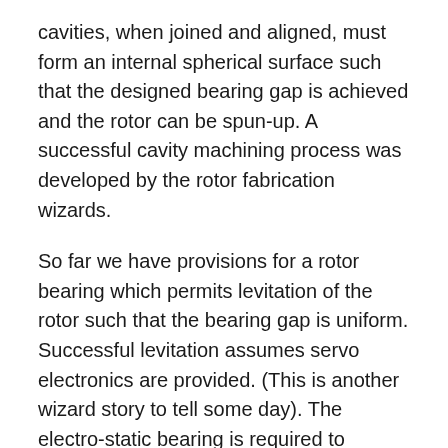cavities, when joined and aligned, must form an internal spherical surface such that the designed bearing gap is achieved and the rotor can be spun-up. A successful cavity machining process was developed by the rotor fabrication wizards.
So far we have provisions for a rotor bearing which permits levitation of the rotor such that the bearing gap is uniform. Successful levitation assumes servo electronics are provided. (This is another wizard story to tell some day). The electro-static bearing is required to operate in a very hard vacuum to eliminate the threat of gas ionization due to the high voltage gradient that that results from a very small gap. Our practical gyro also requires a means by which the angle between the spin axis and reference axes fixed in the cavity set is determined on a continuous basis, i.e., a pickoff.